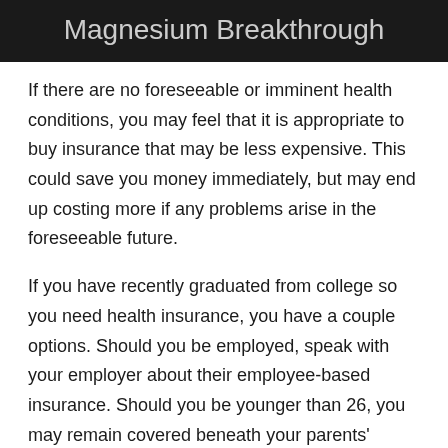Magnesium Breakthrough
If there are no foreseeable or imminent health conditions, you may feel that it is appropriate to buy insurance that may be less expensive. This could save you money immediately, but may end up costing more if any problems arise in the foreseeable future.
If you have recently graduated from college so you need health insurance, you have a couple options. Should you be employed, speak with your employer about their employee-based insurance. Should you be younger than 26, you may remain covered beneath your parents' insurance plan, or you can check into personal insurance plans too.
Reevaluate your insurance policy throughout your open